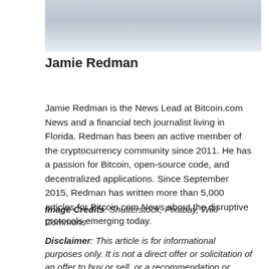[Figure (photo): Partial photo of Jamie Redman showing torso in white shirt, cropped at top of page]
Jamie Redman
Jamie Redman is the News Lead at Bitcoin.com News and a financial tech journalist living in Florida. Redman has been an active member of the cryptocurrency community since 2011. He has a passion for Bitcoin, open-source code, and decentralized applications. Since September 2015, Redman has written more than 5,000 articles for Bitcoin.com News about the disruptive protocols emerging today.
Image Credits: Shutterstock, Pixabay, Wiki Commons
Disclaimer: This article is for informational purposes only. It is not a direct offer or solicitation of an offer to buy or sell, or a recommendation or endorsement of any